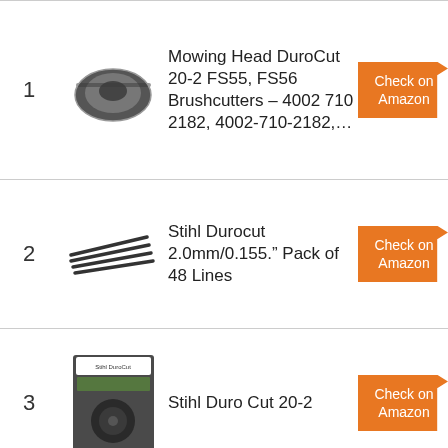| # | Image | Product | Link |
| --- | --- | --- | --- |
| 1 | [image] | Mowing Head DuroCut 20-2 FS55, FS56 Brushcutters – 4002 710 2182, 4002-710-2182,… | Check on Amazon |
| 2 | [image] | Stihl Durocut 2.0mm/0.155." Pack of 48 Lines | Check on Amazon |
| 3 | [image] | Stihl Duro Cut 20-2 | Check on Amazon |
| 4 | [image] | Stihl Durocut 3.0mm/0.12." Pack | Check on Amazon |